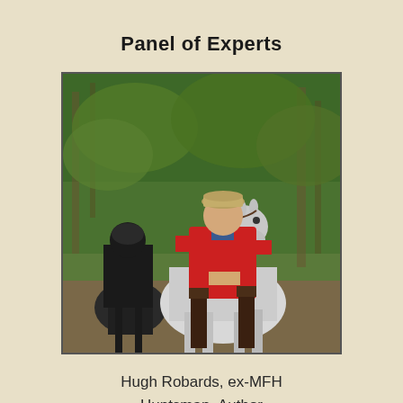Panel of Experts
[Figure (photo): A man in a red hunting coat and tan riding hat seated on a white horse, riding through a wooded area. Behind him is another rider in black attire on a dark horse. Green trees are visible in the background.]
Hugh Robards, ex-MFH
Huntsman, Author